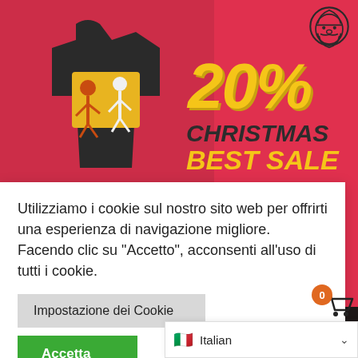[Figure (photo): E-commerce website screenshot showing a Christmas sale banner with a dark t-shirt featuring a graphic print, and text '20% CHRISTMAS BEST SALE' on a red background with a Santa Claus icon.]
Utilizziamo i cookie sul nostro sito web per offrirti una esperienza di navigazione migliore. Facendo clic su "Accetto", acconsenti all'uso di tutti i cookie.
Impostazione dei Cookie
Accetta
Italian
DISEGNANU RU...